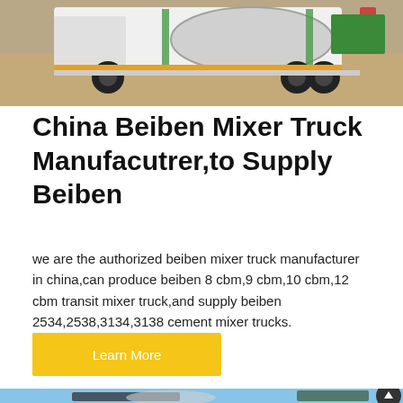[Figure (photo): Rear view of a white and green Beiben mixer truck on a sandy/gravel site, showing the back of the drum and chassis.]
China Beiben Mixer Truck Manufacutrer,to Supply Beiben
we are the authorized beiben mixer truck manufacturer in china,can produce beiben 8 cbm,9 cbm,10 cbm,12 cbm transit mixer truck,and supply beiben 2534,2538,3134,3138 cement mixer trucks.
Learn More
[Figure (photo): Front/side view of a Beiben cement mixer truck against a clear blue sky, showing the drum, cab, and green/white livery.]